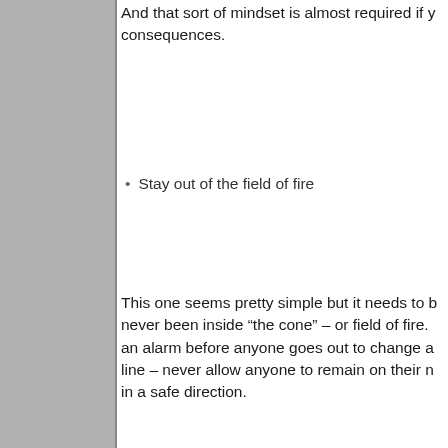And that sort of mindset is almost required if you want to avoid consequences.
Stay out of the field of fire
This one seems pretty simple but it needs to be said. If you have never been inside “the cone” – or field of fire. an alarm before anyone goes out to change a line – never allow anyone to remain on their m in a safe direction.
Always be aware of those who are armed
It doesn’t have to get to paranoia levels but if to know who they are, what they’re doing, and
How far away is cover and concealment?